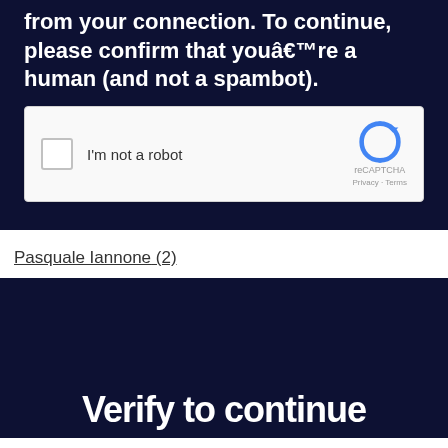from your connection. To continue, please confirm that youâ€™re a human (and not a spambot).
[Figure (screenshot): reCAPTCHA widget with checkbox labeled 'I'm not a robot' and reCAPTCHA logo with Privacy and Terms links]
Pasquale Iannone (2)
[Figure (screenshot): Dark navy background with white bold text reading 'Verify to continue']